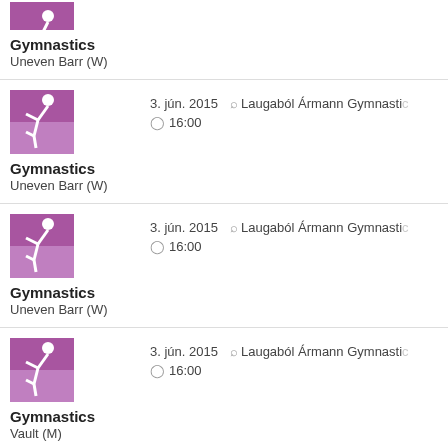Gymnastics - Uneven Barr (W)
Gymnastics - Uneven Barr (W) | 3. jún. 2015 | Laugaból Ármann Gymnastics | 16:00
Gymnastics - Uneven Barr (W) | 3. jún. 2015 | Laugaból Ármann Gymnastics | 16:00
Gymnastics - Vault (M) | 3. jún. 2015 | Laugaból Ármann Gymnastics | 16:00
Gymnastics - Floor (M) | 3. jún. 2015 | Laugaból Ármann Gymnastics | 16:00